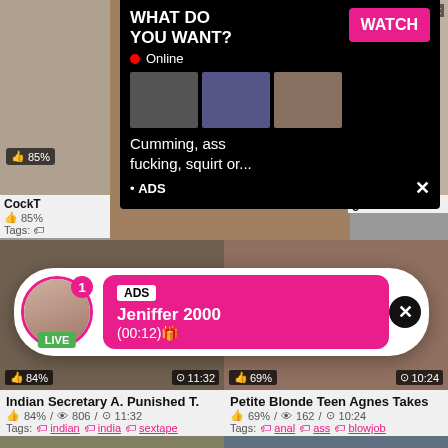[Figure (screenshot): Adult video website screenshot showing video thumbnails with overlaid ad popups. Top overlay: black background ad with 'WHAT DO YOU WANT?' title, pink WATCH button, Online indicator, thumbnail images, text 'Cumming, ass fucking, squirt or...', ADS label. Middle overlay: rounded white popup with live avatar, pink notification badge, LIVE badge, pink message box with ADS tag, 'Jeniffer 2000' and '(00:12)'. Video listings: 'Indian Secretary A. Punished T.' 84% / 806 / 11:32, tags: indian, india, sextape. 'Petite Blonde Teen Agnes Takes' 69% / 162 / 10:24, tags: anal, ass, blowjob. Bottom partial thumbnails with durations 7:55 and 5:41.]